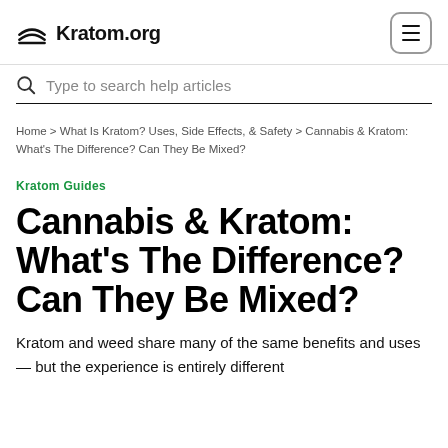Kratom.org
Type to search help articles
Home > What Is Kratom? Uses, Side Effects, & Safety > Cannabis & Kratom: What's The Difference? Can They Be Mixed?
Kratom Guides
Cannabis & Kratom: What's The Difference? Can They Be Mixed?
Kratom and weed share many of the same benefits and uses — but the experience is entirely different